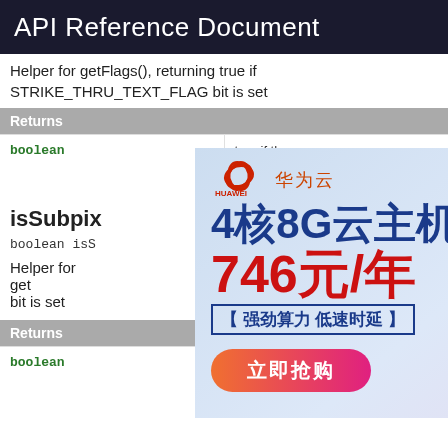API Reference Document
Helper for getFlags(), returning true if STRIKE_THRU_TEXT_FLAG bit is set
| Returns |  |
| --- | --- |
| boolean | true if the STRIKE_THRU_TEXT_FLAG bit is set in the paint's flags. |
isSubpix
Added in API level 1
boolean isS
Helper for get... LAG bit is set
| Returns |  |
| --- | --- |
| boolean | true if the subpixel bit is set in the paint's flags |
[Figure (advertisement): Huawei Cloud advertisement: 4核8G云主机 746元/年 【强劲算力 低速时延】 立即抢购]